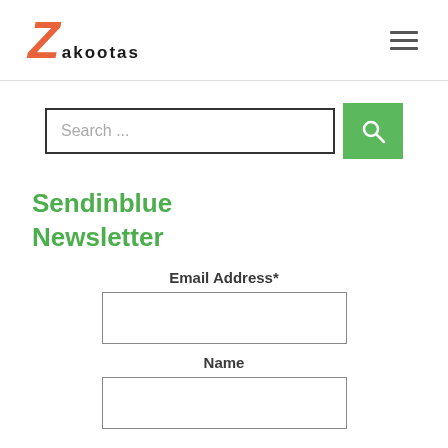Zakootas
[Figure (screenshot): Search bar input field with placeholder text 'Search ...' and a green search button with magnifying glass icon]
Sendinblue Newsletter
Email Address*
Name